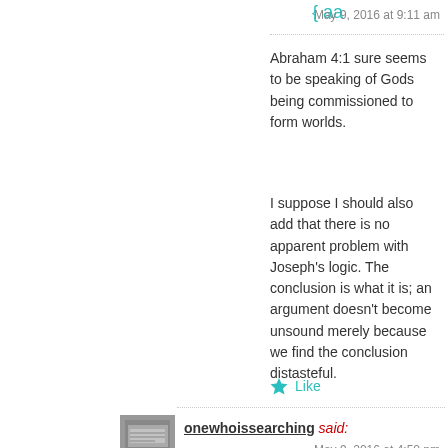May 9, 2016 at 9:11 am
Abraham 4:1 sure seems to be speaking of Gods being commissioned to form worlds.
I suppose I should also add that there is no apparent problem with Joseph's logic. The conclusion is what it is; an argument doesn’t become unsound merely because we find the conclusion distasteful.
★ Like
onewhoissearching said:
May 9, 2016 at 4:50 pm
Except that his logic ignores all the scriptures about an unchangeable God